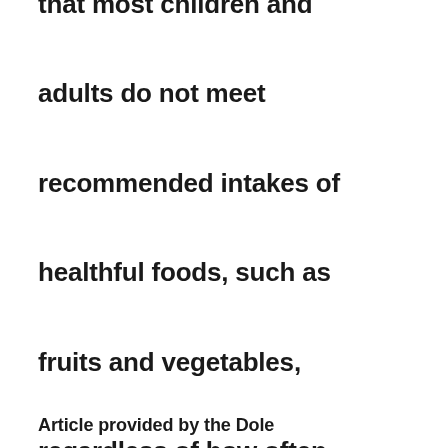that most children and adults do not meet recommended intakes of healthful foods, such as fruits and vegetables, regardless of how often they share meals. Once you establish mealtime rituals, kick your habits up a notch by incorporating more fruits and vegetables into your meals.
Article provided by the Dole